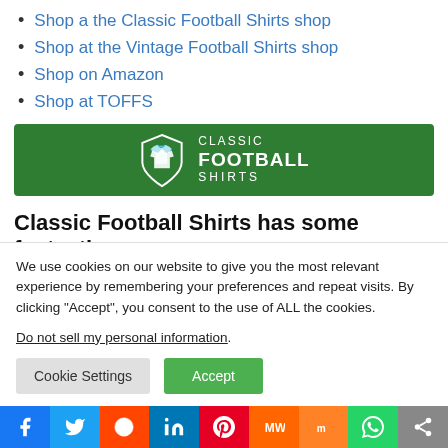Shop a the Classic Football Shirts shop
Shop at the Vintage Football Shirts shop
Shop on Amazon
Shop at TOFFS
[Figure (logo): Classic Football Shirts logo — white shield icon with shirt, text CLASSIC FOOTBALL SHIRTS on dark green banner]
Classic Football Shirts has some fantastic retro Juventus shirts for sale. They are all
We use cookies on our website to give you the most relevant experience by remembering your preferences and repeat visits. By clicking “Accept”, you consent to the use of ALL the cookies.
Do not sell my personal information.